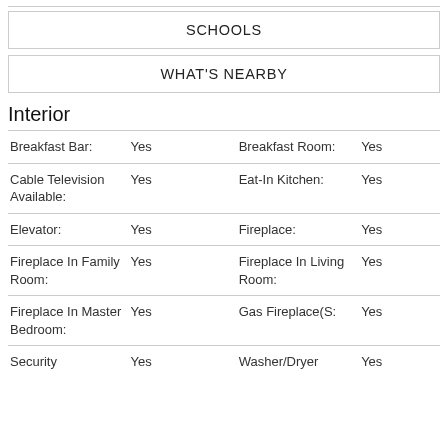SCHOOLS
WHAT'S NEARBY
Interior
| Field | Value | Field | Value |
| --- | --- | --- | --- |
| Breakfast Bar: | Yes | Breakfast Room: | Yes |
| Cable Television Available: | Yes | Eat-In Kitchen: | Yes |
| Elevator: | Yes | Fireplace: | Yes |
| Fireplace In Family Room: | Yes | Fireplace In Living Room: | Yes |
| Fireplace In Master Bedroom: | Yes | Gas Fireplace(S: | Yes |
| Security | Yes | Washer/Dryer | Yes |